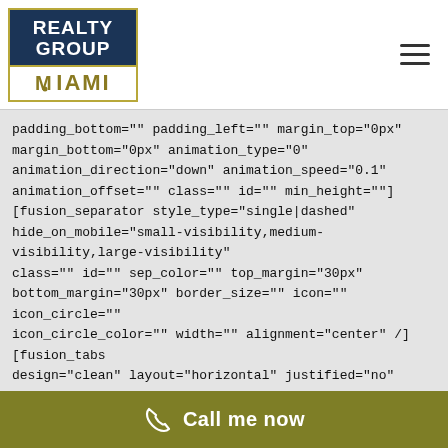[Figure (logo): Realty Group of Miami logo with dark blue top section and gold Miami text below]
padding_bottom="" padding_left="" margin_top="0px" margin_bottom="0px" animation_type="0" animation_direction="down" animation_speed="0.1" animation_offset="" class="" id="" min_height=""] [fusion_separator style_type="single|dashed" hide_on_mobile="small-visibility,medium-visibility,large-visibility" class="" id="" sep_color="" top_margin="30px" bottom_margin="30px" border_size="" icon="" icon_circle="" icon_circle_color="" width="" alignment="center" /][fusion_tabs design="clean" layout="horizontal" justified="no" backgroundcolor="#a7c5f9" inactivecolor="#ffffff" bordercolor="" icon="" icon_position="" icon_size="" hide_on_mobile="small-
Call me now